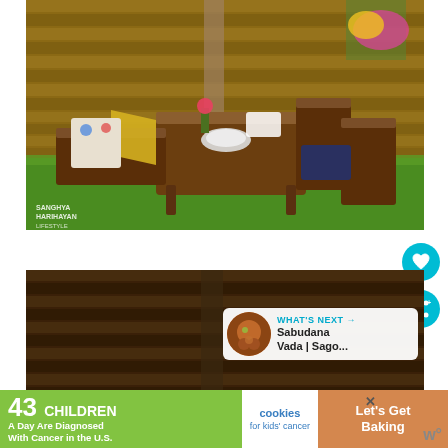[Figure (photo): Outdoor garden dining set with wooden table and chairs on green grass, decorated with colorful cushions and flowers, in front of a wooden fence panel. Watermark reads SANGHYA HARIHAYAN in bottom left corner.]
[Figure (photo): Cropped close-up of the same wooden fence panel in dark brown tones, blurred background.]
WHAT'S NEXT → Sabudana Vada | Sago...
43 CHILDREN A Day Are Diagnosed With Cancer in the U.S. cookies for kids' cancer Let's Get Baking